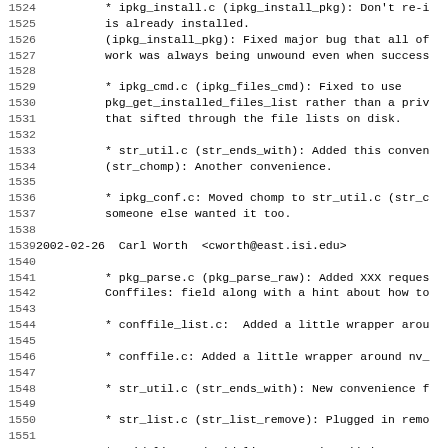Code/changelog listing, lines 1524–1555, showing commit log entries for ipkg project
1524: * ipkg_install.c (ipkg_install_pkg): Don't re-i
1525: is already installed.
1526: (ipkg_install_pkg): Fixed major bug that all of
1527: work was always being unwound even when success
1528: (blank)
1529: * ipkg_cmd.c (ipkg_files_cmd): Fixed to use
1530: pkg_get_installed_files_list rather than a priv
1531: that sifted through the file lists on disk.
1532: (blank)
1533: * str_util.c (str_ends_with): Added this conven
1534: (str_chomp): Another convenience.
1535: (blank)
1536: * ipkg_conf.c: Moved chomp to str_util.c (str_c
1537: someone else wanted it too.
1538: (blank)
1539: 2002-02-26  Carl Worth  <cworth@east.isi.edu>
1540: (blank)
1541: * pkg_parse.c (pkg_parse_raw): Added XXX reques
1542: Conffiles: field along with a hint about how to
1543: (blank)
1544: * conffile_list.c:  Added a little wrapper arou
1545: (blank)
1546: * conffile.c: Added a little wrapper around nv_
1547: (blank)
1548: * str_util.c (str_ends_with): New convenience f
1549: (blank)
1550: * str_list.c (str_list_remove): Plugged in remo
1551: (blank)
1552: * void_list.c (void_list_remove): Added remove
1553: updating of forward iterator).
1554: (blank)
1555: * pkg.c (pkg_run_script): Changed to return